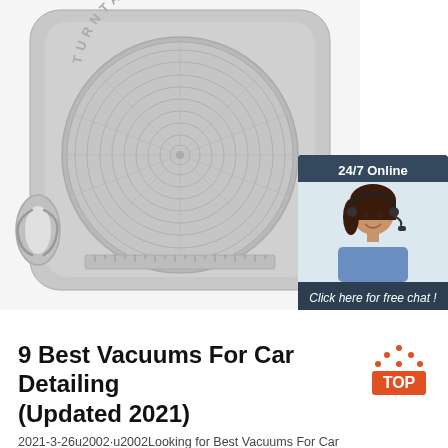[Figure (photo): A grey plastic turntable/lazy susan device with concentric circular grid pattern and metal handles, viewed from above. Labeled 'TURNTABLE' around the top edge. A customer service chat widget overlay is on the right showing a woman with headset, text '24/7 Online', 'Click here for free chat!', and an orange 'QUOTATION' button.]
9 Best Vacuums For Car Detailing (Updated 2021)
2021-3-26u2002·u2002Looking for Best Vacuums For Car